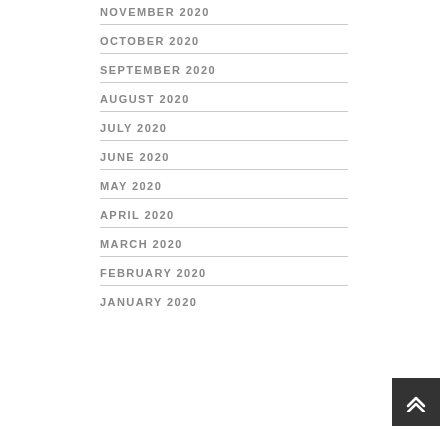NOVEMBER 2020
OCTOBER 2020
SEPTEMBER 2020
AUGUST 2020
JULY 2020
JUNE 2020
MAY 2020
APRIL 2020
MARCH 2020
FEBRUARY 2020
JANUARY 2020